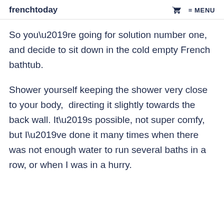frenchtoday  MENU
So you’re going for solution number one, and decide to sit down in the cold empty French bathtub.
Shower yourself keeping the shower very close to your body,  directing it slightly towards the back wall. It’s possible, not super comfy, but I’ve done it many times when there was not enough water to run several baths in a row, or when I was in a hurry.